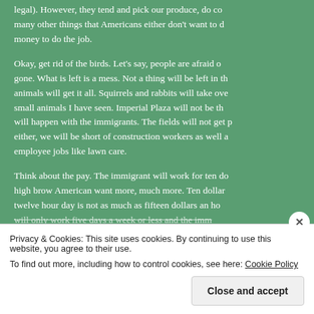legal). However, they tend and pick our produce, do co many other things that Americans either don't want to d money to do the job.
Okay, get rid of the birds. Let's say, people are afraid o gone. What is left is a mess. Not a thing will be left in th animals will get it all. Squirrels and rabbits will take ove small animals I have seen. Imperial Plaza will not be th will happen with the immigrants. The fields will not get p either, we will be short of construction workers as well a employee jobs like lawn care.
Think about the pay. The immigrant will work for ten do high brow American want more, much more. Ten dollar twelve hour day is not as much as fifteen dollars an ho will only work five days a week or less and the imm
Privacy & Cookies: This site uses cookies. By continuing to use this website, you agree to their use.
To find out more, including how to control cookies, see here: Cookie Policy
Close and accept